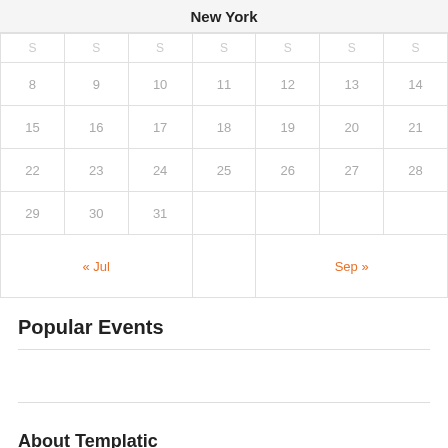New York
| 8 | 9 | 10 | 11 | 12 | 13 | 14 |
| 15 | 16 | 17 | 18 | 19 | 20 | 21 |
| 22 | 23 | 24 | 25 | 26 | 27 | 28 |
| 29 | 30 | 31 |  |  |  |  |
| « Jul |  |  |  |  | Sep » |  |
Popular Events
About Templatic
THE OVERSIZED PARAGRAPH